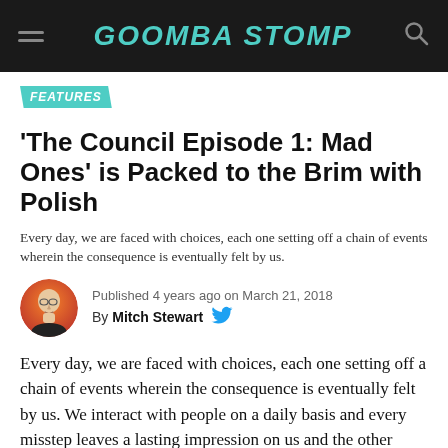GOOMBA STOMP
FEATURES
'The Council Episode 1: Mad Ones' is Packed to the Brim with Polish
Every day, we are faced with choices, each one setting off a chain of events wherein the consequence is eventually felt by us.
Published 4 years ago on March 21, 2018
By Mitch Stewart
Every day, we are faced with choices, each one setting off a chain of events wherein the consequence is eventually felt by us. We interact with people on a daily basis and every misstep leaves a lasting impression on us and the other person. We never get the chance to try again to get it "right". So too do these rules apply in The Council.